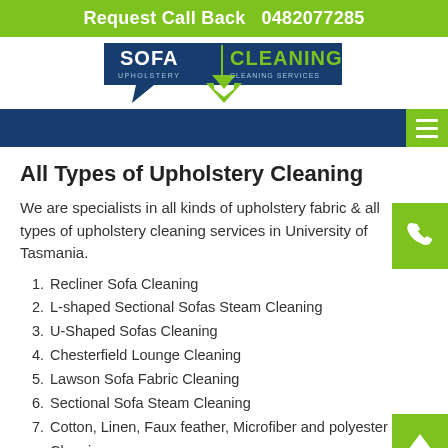Request Call Back  0482077285
[Figure (logo): Sofa Upholstery / Cleaning Services logo with dark blue speech bubble shapes and green chevron arrow]
All Types of Upholstery Cleaning
We are specialists in all kinds of upholstery fabric & all types of upholstery cleaning services in University of Tasmania.
Recliner Sofa Cleaning
L-shaped Sectional Sofas Steam Cleaning
U-Shaped Sofas Cleaning
Chesterfield Lounge Cleaning
Lawson Sofa Fabric Cleaning
Sectional Sofa Steam Cleaning
Cotton, Linen, Faux feather, Microfiber and polyester Cleaning